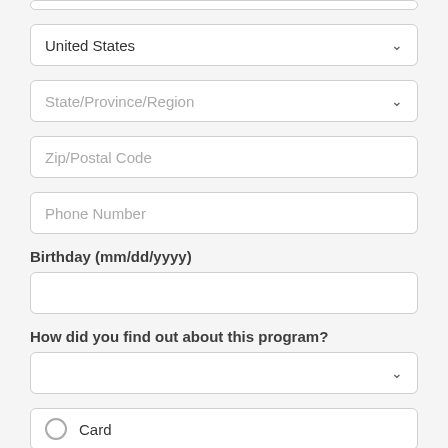[Figure (screenshot): Partial form field at top, cut off]
United States (dropdown)
State/Province/Region (dropdown)
Zip/Postal Code (input)
Phone Number (input)
Birthday (mm/dd/yyyy)
Birthday input field
How did you find out about this program?
Dropdown for how did you find out
Card (radio option)